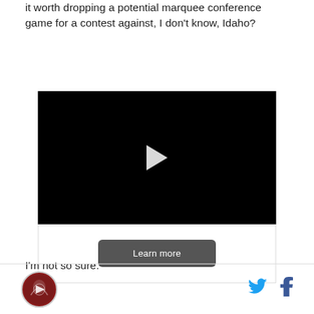it worth dropping a potential marquee conference game for a contest against, I don't know, Idaho?
[Figure (screenshot): A video player with black background and a white play button triangle in the center, with a 'Learn more' button below on white background.]
I'm not so sure.
Logo icon and social media icons for Twitter and Facebook